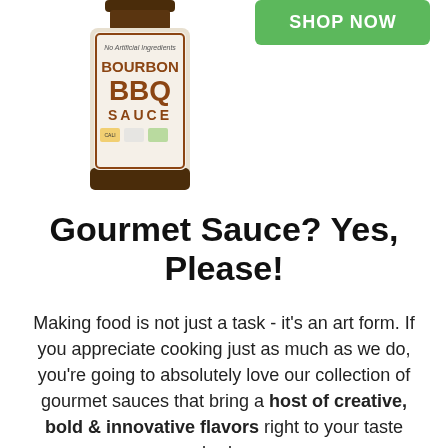[Figure (photo): A bottle of Bourbon BBQ Sauce with a brown cap, white label, visible text: 'BOURBON BBQ SAUCE', partially cut off at top]
[Figure (other): Green 'SHOP NOW' button, partially visible at top right]
Gourmet Sauce? Yes, Please!
Making food is not just a task - it's an art form. If you appreciate cooking just as much as we do, you're going to absolutely love our collection of gourmet sauces that bring a host of creative, bold & innovative flavors right to your taste buds.